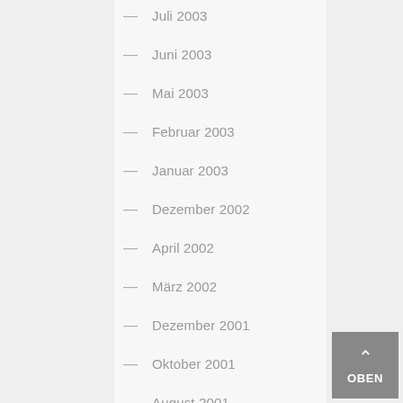— Juli 2003
— Juni 2003
— Mai 2003
— Februar 2003
— Januar 2003
— Dezember 2002
— April 2002
— März 2002
— Dezember 2001
— Oktober 2001
— August 2001
— März 2001
— Dezember 2000
— April 2000